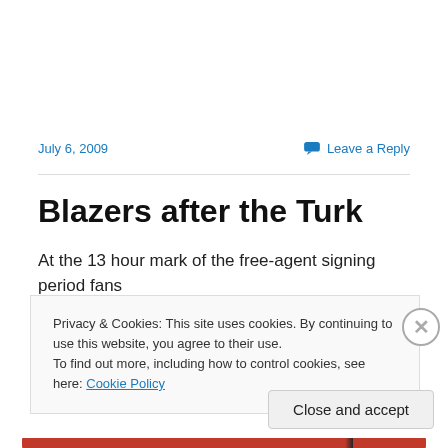July 6, 2009
Leave a Reply
Blazers after the Turk
At the 13 hour mark of the free-agent signing period fans
Privacy & Cookies: This site uses cookies. By continuing to use this website, you agree to their use.
To find out more, including how to control cookies, see here: Cookie Policy
Close and accept